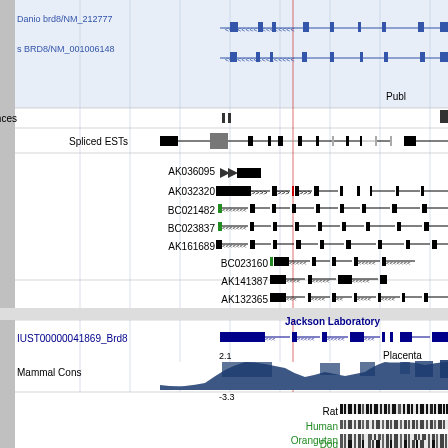[Figure (other): UCSC Genome Browser screenshot showing genomic tracks for mouse Brd8 gene region. Tracks include: Danio brd8/NM_212777 and s BRD8/NM_001006148 (blue gene models), Sequences track, Spliced ESTs track, individual mRNA tracks (AK036095, AK032320, BC021482, BC023837, AK161689, BC023160, AK141387, AK132365) shown as black exon/intron diagrams, Jackson Laboratory IUST00000041869_Brd8 track (blue), Mammal Cons conservation track (dark blue histogram ranging from -3.3 to 2.1), and species alignment tracks for Rat, Human, Orangutan, Dog showing conservation bars. A vertical red line marks a position. Label 'Placenta' appears partially cut off at right.]